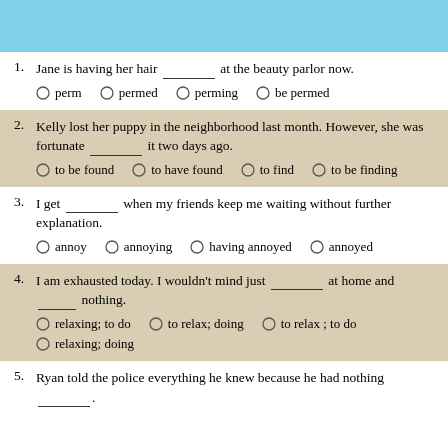1. Jane is having her hair _______ at the beauty parlor now. Choices: perm, permed, perming, be permed
2. Kelly lost her puppy in the neighborhood last month. However, she was fortunate _______ it two days ago. Choices: to be found, to have found, to find, to be finding
3. I get _______ when my friends keep me waiting without further explanation. Choices: annoy, annoying, having annoyed, annoyed
4. I am exhausted today. I wouldn't mind just _______ at home and _______ nothing. Choices: relaxing; to do, to relax; doing, to relax ; to do, relaxing; doing
5. Ryan told the police everything he knew because he had nothing _______.